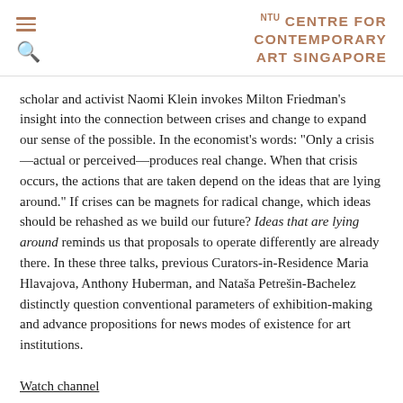NTU Centre for Contemporary Art Singapore
scholar and activist Naomi Klein invokes Milton Friedman's insight into the connection between crises and change to expand our sense of the possible. In the economist's words: "Only a crisis—actual or perceived—produces real change. When that crisis occurs, the actions that are taken depend on the ideas that are lying around." If crises can be magnets for radical change, which ideas should be rehashed as we build our future? Ideas that are lying around reminds us that proposals to operate differently are already there. In these three talks, previous Curators-in-Residence Maria Hlavajova, Anthony Huberman, and Nataša Petrešin-Bachelez distinctly question conventional parameters of exhibition-making and advance propositions for news modes of existence for art institutions.
Watch channel